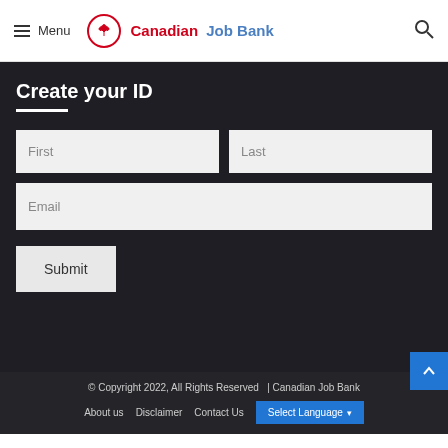Menu | Canadian Job Bank
Create your ID
First
Last
Email
Submit
© Copyright 2022, All Rights Reserved | Canadian Job Bank
About us  Disclaimer  Contact Us  Select Language